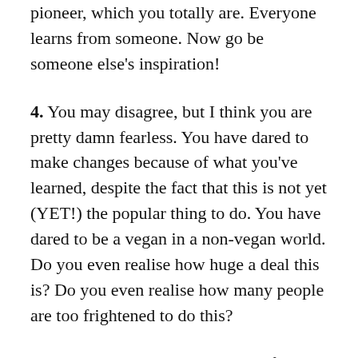pioneer, which you totally are. Everyone learns from someone. Now go be someone else's inspiration!
4. You may disagree, but I think you are pretty damn fearless. You have dared to make changes because of what you've learned, despite the fact that this is not yet (YET!) the popular thing to do. You have dared to be a vegan in a non-vegan world. Do you even realise how huge a deal this is? Do you even realise how many people are too frightened to do this?
5. Assuming you are going vegan for ethical reasons (though I'm convinced you will make the connection even if you initially go vegan for other reasons), you could become a real advocate